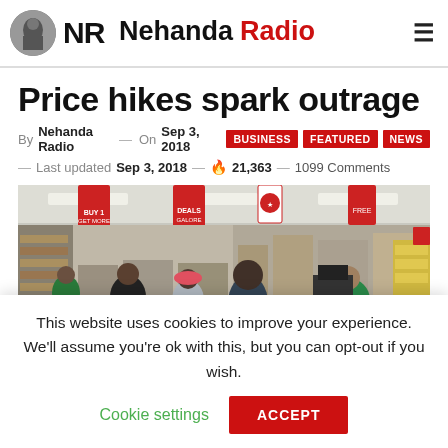Nehanda Radio
Price hikes spark outrage
By Nehanda Radio — On Sep 3, 2018 BUSINESS FEATURED NEWS — Last updated Sep 3, 2018 — 🔥 21,363 — 1099 Comments
[Figure (photo): Shoppers at a supermarket checkout and grocery aisles with red promotional signs hanging from the ceiling]
This website uses cookies to improve your experience. We'll assume you're ok with this, but you can opt-out if you wish. Cookie settings ACCEPT